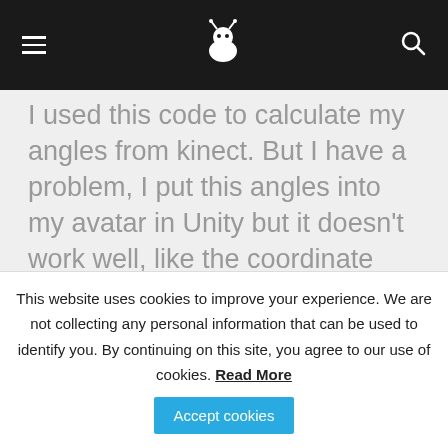[navigation bar with hamburger menu, bee logo, and search icon]
I used this code to calculate my angles from kinect. But I have a problem, I put this angles into my avatar in Unity but it doesn't work well, like the coordinate systems are not the same. How can I fix it? What coordinate system it is used here?
Tranks,
This website uses cookies to improve your experience. We are not collecting any personal information that can be used to identify you. By continuing on this site, you agree to our use of cookies. Read More  Accept cookies